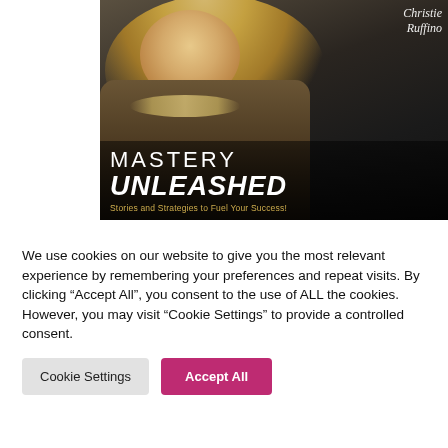[Figure (illustration): Book cover for 'Mastery Unleashed: Stories and Strategies to Fuel Your Success!' by Christie Ruffino. Shows a blonde woman in a leather jacket against a dark background. The title 'MASTERY UNLEASHED' appears in large white text with a gold subtitle.]
We use cookies on our website to give you the most relevant experience by remembering your preferences and repeat visits. By clicking "Accept All", you consent to the use of ALL the cookies. However, you may visit "Cookie Settings" to provide a controlled consent.
Cookie Settings
Accept All